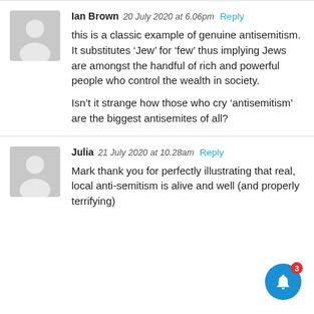Ian Brown 20 July 2020 at 6.06pm Reply
this is a classic example of genuine antisemitism. It substitutes ‘Jew’ for ‘few’ thus implying Jews are amongst the handful of rich and powerful people who control the wealth in society.

Isn’t it strange how those who cry ‘antisemitism’ are the biggest antisemites of all?
Julia 21 July 2020 at 10.28am Reply
Mark thank you for perfectly illustrating that real, local anti-semitism is alive and well (and properly terrifying)